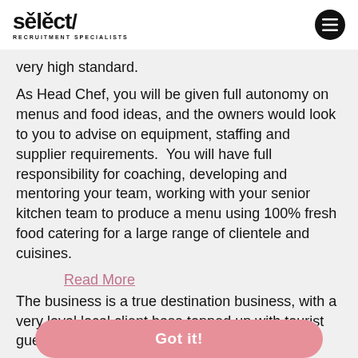select/ RECRUITMENT SPECIALISTS
very high standard.
As Head Chef, you will be given full autonomy on menus and food ideas, and the owners would look to you to advise on equipment, staffing and supplier requirements.  You will have full responsibility for coaching, developing and mentoring your team, working with your senior kitchen team to produce a menu using 100% fresh food catering for a large range of clientele and cuisines.
Read More
The business is a true destination business, with a very loyal local client base topped up with tourist guests.
Due to the nature of the role, you will need to be able